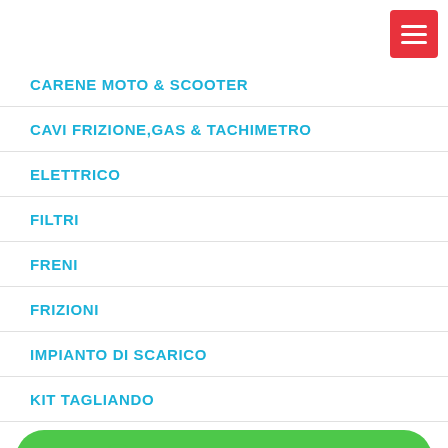CARENE MOTO & SCOOTER
CAVI FRIZIONE,GAS & TACHIMETRO
ELETTRICO
FILTRI
FRENI
FRIZIONI
IMPIANTO DI SCARICO
KIT TAGLIANDO
[Figure (other): WhatsApp contact button with phone icon and text 'WhatsApp 09:00/20:00' on green rounded background]
LEVE FRENO